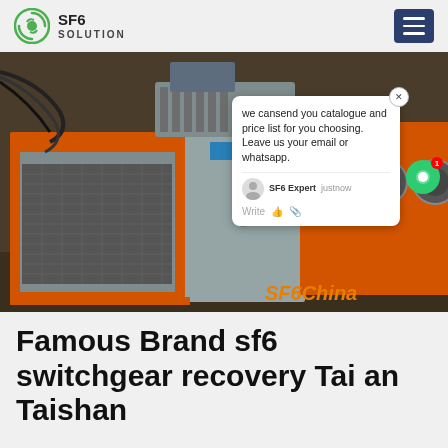SF6 SOLUTION
[Figure (photo): Industrial SF6 switchgear recovery equipment - orange metal cabinet units with ventilation grilles and electrical components, in a factory/warehouse setting. A chat popup overlay reads: 'we cansend you catalogue and price list for you choosing. Leave us your email or whatsapp.' with 'SF6 Expert justnow' attribution. 'SF6China' watermark in orange italic at bottom right.]
Famous Brand sf6 switchgear recovery Tai an Taishan